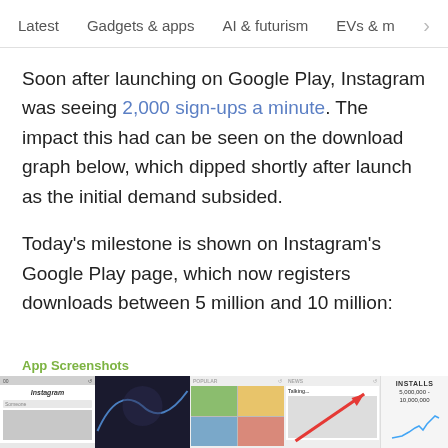Latest  Gadgets & apps  AI & futurism  EVs & mobil  >
Soon after launching on Google Play, Instagram was seeing 2,000 sign-ups a minute. The impact this had can be seen on the download graph below, which dipped shortly after launch as the initial demand subsided.
Today’s milestone is shown on Instagram’s Google Play page, which now registers downloads between 5 million and 10 million:
[Figure (screenshot): App Screenshots section from Google Play showing Instagram app screenshots and installs panel reading 5,000,000 - 10,000,000]